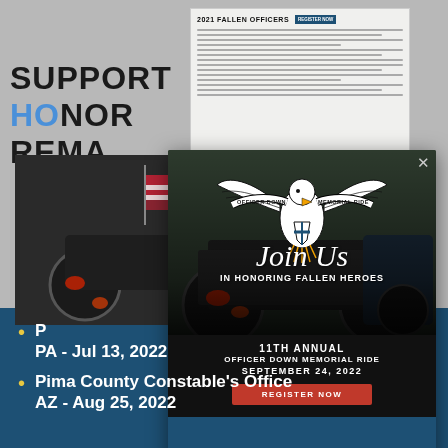[Figure (screenshot): Screenshot of a webpage showing Officer Down Memorial Ride event popup modal over a background with 'SUPPORT HONOR REMEMBER' text and a 2021 Fallen Officers document. The modal shows an eagle logo, 'Join Us IN HONORING FALLEN HEROES', '11TH ANNUAL OFFICER DOWN MEMORIAL RIDE SEPTEMBER 24, 2022', and a red REGISTER NOW button.]
P
PA - Jul 13, 2022
Pima County Constable's Office
AZ - Aug 25, 2022